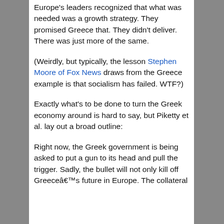Europe's leaders recognized that what was needed was a growth strategy. They promised Greece that. They didn't deliver. There was just more of the same.
(Weirdly, but typically, the lesson Stephen Moore of Fox News draws from the Greece example is that socialism has failed. WTF?)
Exactly what's to be done to turn the Greek economy around is hard to say, but Piketty et al. lay out a broad outline:
Right now, the Greek government is being asked to put a gun to its head and pull the trigger. Sadly, the bullet will not only kill off Greeceâ€™s future in Europe. The collateral